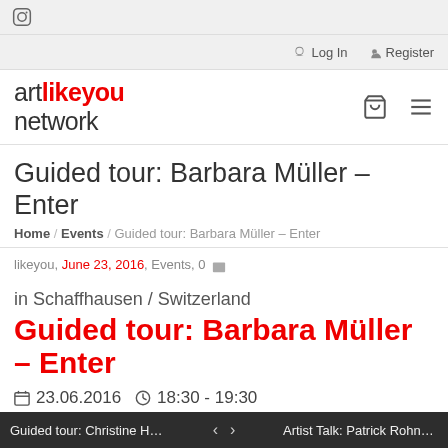Instagram icon
Log In   Register
artlikeyou network
Guided tour: Barbara Müller – Enter
Home / Events / Guided tour: Barbara Müller – Enter
likeyou, June 23, 2016, Events, 0
in Schaffhausen / Switzerland
Guided tour: Barbara Müller – Enter
23.06.2016   18:30 - 19:30
[Figure (photo): Partial image, light yellow/golden tones]
Guided tour: Christine Hübscher...   <   >   Artist Talk: Patrick Rohner - Wass...